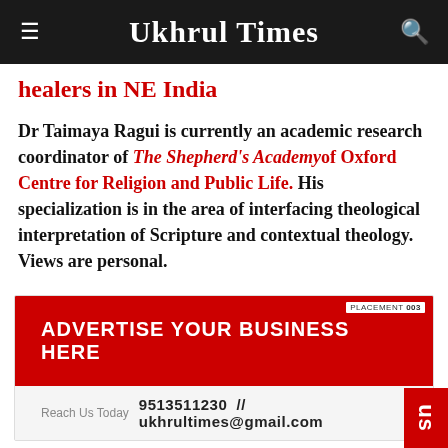Ukhrul Times
healers in NE India
Dr Taimaya Ragui is currently an academic research coordinator of The Shepherd's Academy of Oxford Centre for Religion and Public Life. His specialization is in the area of interfacing theological interpretation of Scripture and contextual theology. Views are personal.
[Figure (infographic): Advertisement banner for Ukhrul Times: red background with text 'ADVERTISE YOUR BUSINESS HERE' and contact info '9513511230 // ukhrultimes@gmail.com']